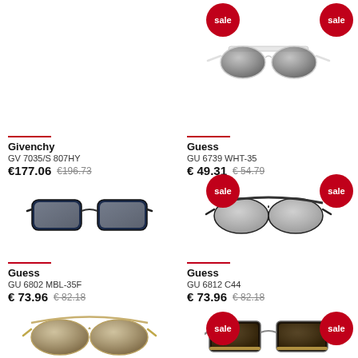[Figure (photo): White aviator sunglasses with grey gradient lenses - Guess GU 6739 WHT-35, sale badge visible]
Givenchy
GV 7035/S 807HY
€177.06  €196.73
Guess
GU 6739 WHT-35
€ 49.31  €54.79
[Figure (photo): Dark navy rectangular sunglasses with mirrored lenses - Guess GU 6802 MBL-35F]
[Figure (photo): Black aviator sunglasses with silver mirrored lenses - Guess GU 6812 C44, sale badge visible]
Guess
GU 6802 MBL-35F
€ 73.96  €82.18
Guess
GU 6812 C44
€ 73.96  €82.18
[Figure (photo): Gold metal aviator sunglasses with brown gradient lenses]
[Figure (photo): Dark rectangular sunglasses with brown lenses and gold trim, sale badge visible]